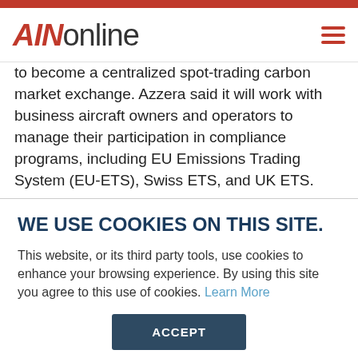AINonline
to become a centralized spot-trading carbon market exchange. Azzera said it will work with business aircraft owners and operators to manage their participation in compliance programs, including EU Emissions Trading System (EU-ETS), Swiss ETS, and UK ETS.
“We launched Azzera because purchasing carbon offsets
WE USE COOKIES ON THIS SITE.
This website, or its third party tools, use cookies to enhance your browsing experience. By using this site you agree to this use of cookies. Learn More
ACCEPT